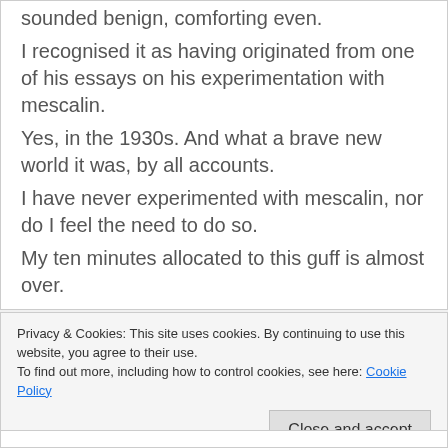sounded benign, comforting even.
I recognised it as having originated from one of his essays on his experimentation with mescalin.
Yes, in the 1930s. And what a brave new world it was, by all accounts.
I have never experimented with mescalin, nor do I feel the need to do so.
My ten minutes allocated to this guff is almost over.
No photo again today.
The inner self does not have a conventional or digital camera.
Privacy & Cookies: This site uses cookies. By continuing to use this website, you agree to their use.
To find out more, including how to control cookies, see here: Cookie Policy
Close and accept